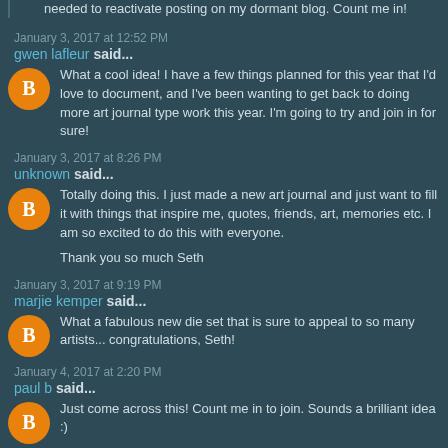needed to reactivate posting on my dormant blog. Count me in!
January 3, 2017 at 12:52 PM
gwen lafleur said...
What a cool idea! I have a few things planned for this year that I'd love to document, and I've been wanting to get back to doing more art journal type work this year. I'm going to try and join in for sure!
January 3, 2017 at 8:26 PM
unknown said...
Totally doing this. I just made a new art journal and just want to fill it with things that inspire me, quotes, friends, art, memories etc. I am so excited to do this with everyone.
Thank you so much Seth
January 3, 2017 at 9:19 PM
marjie kemper said...
What a fabulous new die set that is sure to appeal to so many artists... congratulations, Seth!
January 4, 2017 at 2:20 PM
paul b said...
Just come across this! Count me in to join. Sounds a brilliant idea :)
January 7, 2017 at 1:16 PM
jeanne-sylvie said...
Thanks for initiating this great project Seth!! I'll be glad to join in!!
I wish you a beautiful, happy and peaceful year...